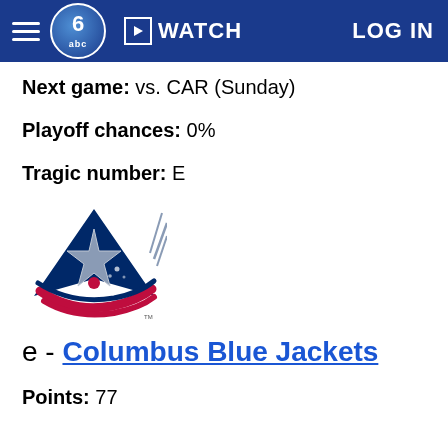WATCH | LOG IN
Next game: vs. CAR (Sunday)
Playoff chances: 0%
Tragic number: E
[Figure (logo): Columbus Blue Jackets NHL team logo - a blue jacket/comet shape with red stripes and a star]
e - Columbus Blue Jackets
Points: 77